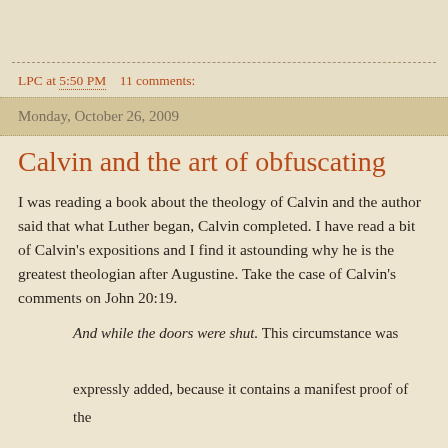LPC at 5:50 PM    11 comments:
Monday, October 26, 2009
Calvin and the art of obfuscating
I was reading a book about the theology of Calvin and the author said that what Luther began, Calvin completed. I have read a bit of Calvin's expositions and I find it astounding why he is the greatest theologian after Augustine. Take the case of Calvin's comments on John 20:19.
And while the doors were shut. This circumstance was expressly added, because it contains a manifest proof of the Divine power of Christ; but this is utterly at variance with the